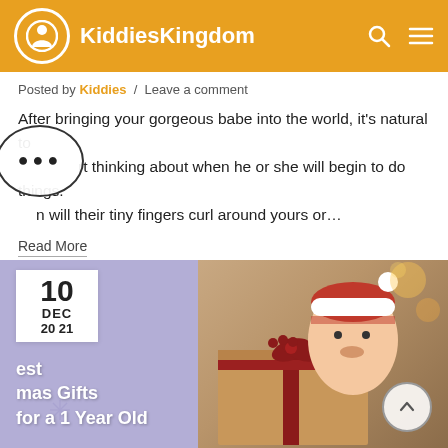KiddiesKingdom
Posted by Kiddies / Leave a comment
After bringing your gorgeous babe into the world, it's natural to start thinking about when he or she will begin to do things. ...n will their tiny fingers curl around yours or...
Read More
[Figure (photo): Blog card with date 10 DEC 2021, title partially visible 'est ...mas Gifts for a 1 Year Old', photo of baby in Santa hat behind wrapped gift boxes on purple background]